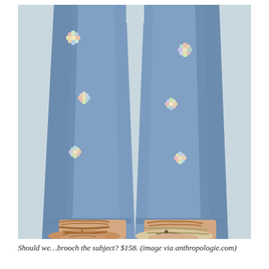[Figure (photo): A model wearing light blue skinny jeans adorned with colorful floral brooch embellishments scattered across the legs, paired with tan lace-up flat sandals. The background is a pale blue-grey. The image is cropped from the waist down.]
Should we…brooch the subject?  $158.  (image via anthropologie.com)